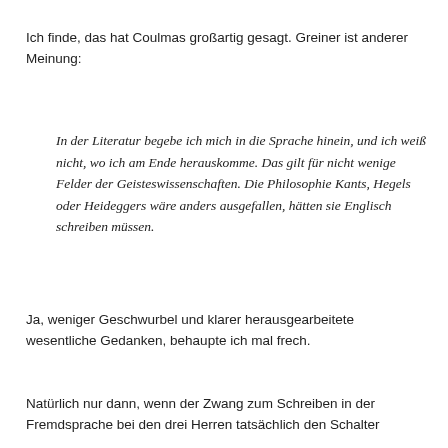Ich finde, das hat Coulmas großartig gesagt. Greiner ist anderer Meinung:
In der Literatur begebe ich mich in die Sprache hinein, und ich weiß nicht, wo ich am Ende herauskomme. Das gilt für nicht wenige Felder der Geisteswissenschaften. Die Philosophie Kants, Hegels oder Heideggers wäre anders ausgefallen, hätten sie Englisch schreiben müssen.
Ja, weniger Geschwurbel und klarer herausgearbeitete wesentliche Gedanken, behaupte ich mal frech.
Natürlich nur dann, wenn der Zwang zum Schreiben in der Fremdsprache bei den drei Herren tatsächlich den Schalter